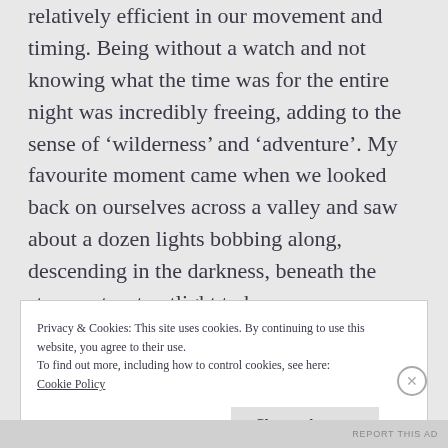relatively efficient in our movement and timing. Being without a watch and not knowing what the time was for the entire night was incredibly freeing, adding to the sense of 'wilderness' and 'adventure'. My favourite moment came when we looked back on ourselves across a valley and saw about a dozen lights bobbing along, descending in the darkness, beneath the stars, not a streetlight to be seen.
Privacy & Cookies: This site uses cookies. By continuing to use this website, you agree to their use.
To find out more, including how to control cookies, see here:
Cookie Policy
Close and accept
REPORT THIS AD